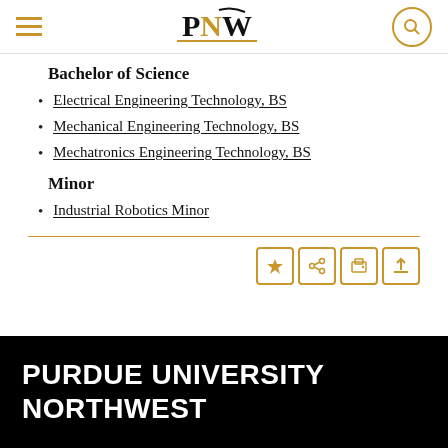PNW - Purdue University Northwest
Bachelor of Science
Electrical Engineering Technology, BS
Mechanical Engineering Technology, BS
Mechatronics Engineering Technology, BS
Minor
Industrial Robotics Minor
PURDUE UNIVERSITY NORTHWEST